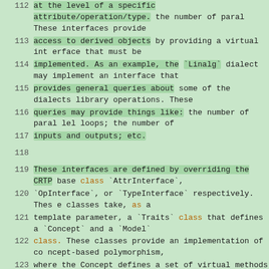112  at the level of a specific attribute/operation/type. These interfaces provide
113  access to derived objects by providing a virtual interface that must be
114  implemented. As an example, the `Linalg` dialect may implement an interface that
115  provides general queries about some of the dialects library operations. These
116  queries may provide things like: the number of parallel loops; the number of
117  inputs and outputs; etc.
118  (empty)
119  These interfaces are defined by overriding the CRTP base class `AttrInterface`,
120  `OpInterface`, or `TypeInterface` respectively. These classes take, as a
121  template parameter, a `Traits` class that defines a `Concept` and a `Model`
122  class. These classes provide an implementation of concept-based polymorphism,
123  where the Concept defines a set of virtual methods that are overridden by the
124  Model that is templated on the concrete object type. It is important to note
125  that these classes should be pure in that they contain no non-static data
126  members. Objects that wish to override this interface should add the provided